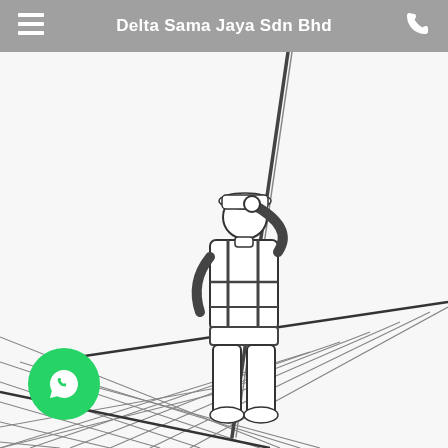Delta Sama Jaya Sdn Bhd
[Figure (illustration): Black and white line drawing / illustration of a worker seen from behind, wearing a safety vest and hard hat, holding a long pole or rod that extends diagonally upward. The worker stands on a surface with diagonal lines suggesting a textured or patterned floor/surface. A WhatsApp contact button (green circle with phone handset icon) appears in the lower-left corner.]